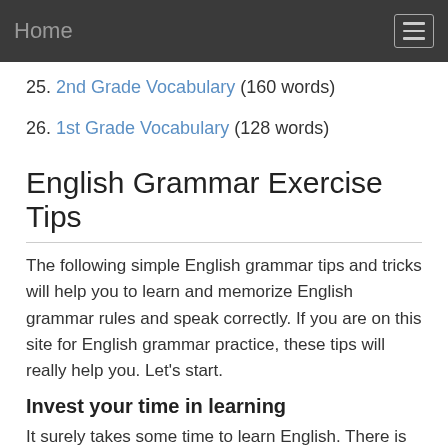Home
25. 2nd Grade Vocabulary (160 words)
26. 1st Grade Vocabulary (128 words)
English Grammar Exercise Tips
The following simple English grammar tips and tricks will help you to learn and memorize English grammar rules and speak correctly. If you are on this site for English grammar practice, these tips will really help you. Let's start.
Invest your time in learning
It surely takes some time to learn English. There is no shortcut way to learn it. Some websites may say that they will teach you English in seven days or